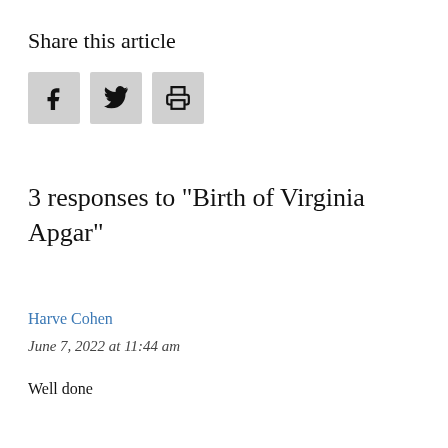Share this article
[Figure (other): Three social sharing icon buttons: Facebook (f), Twitter (bird), and Print (printer)]
3 responses to "Birth of Virginia Apgar"
Harve Cohen
June 7, 2022 at 11:44 am
Well done